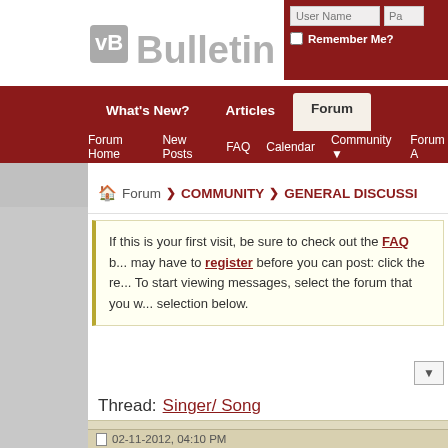[Figure (logo): vBulletin logo with stylized arrow icon and registered trademark symbol]
User Name | Password | Remember Me?
What's New? | Articles | Forum
Forum Home  New Posts  FAQ  Calendar  Community  Forum A
Forum ❯ COMMUNITY ❯ GENERAL DISCUSSION
If this is your first visit, be sure to check out the FAQ b... may have to register before you can post: click the re... To start viewing messages, select the forum that you w... selection below.
Thread: Singer/ Song
02-11-2012, 04:10 PM
sparky
FORUM MODERATOR
Singer/ Song